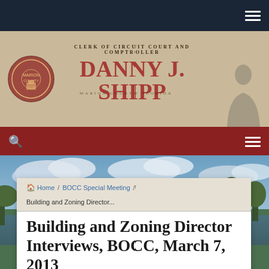Danny J. Shipp — Clerk of Circuit Court and Comptroller
[Figure (screenshot): Website header with Danny J. Shipp Clerk of Circuit Court and Comptroller logo, seal, red navigation bar with search and hamburger menu, and lake landscape background photo]
Home / BOCC Special Meeting / Building and Zoning Director...
Building and Zoning Director Interviews, BOCC, March 7, 2013
Building and Zoning Director Interviews...